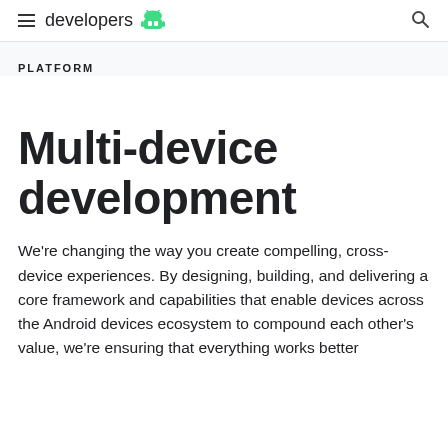developers
PLATFORM
Multi-device development
We're changing the way you create compelling, cross-device experiences. By designing, building, and delivering a core framework and capabilities that enable devices across the Android devices ecosystem to compound each other's value, we're ensuring that everything works better